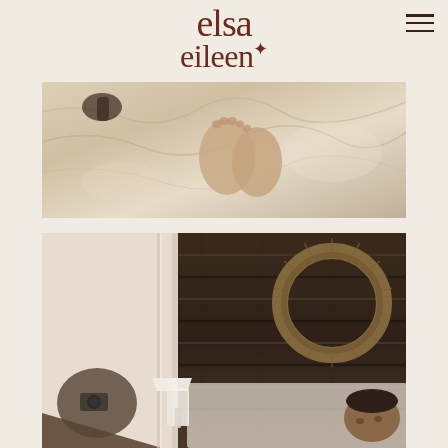[Figure (logo): Elsa Eileen photography logo in dark brown serif/decorative font with a small star/sparkle diacritic, on cream background]
[Figure (photo): Close-up photograph of a newborn baby's feet and legs wrapped in cream/white linen bedding]
[Figure (photo): Interior bedroom scene with dark wooden plank walls, a dried grass wreath hanging on the wall, a white table lamp, and a man lying in bed looking up]